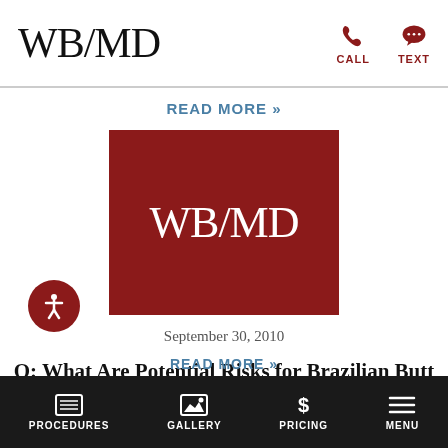WB/MD
READ MORE »
[Figure (logo): WB/MD logo on dark red background]
September 30, 2010
Q: What Are Potential Risks for Brazilian Butt Lift?
READ MORE »
PROCEDURES  GALLERY  PRICING  MENU